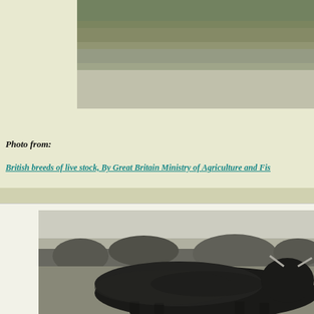[Figure (photo): Black and white photograph of a West Highland bull, partially cropped at top, showing vegetation/grass background.]
West Highland Bull, "Calum Buidhe of Atholl." First Prize. Highland and Agricultural Society's Shows. 1899. 1900
Photo from:
British breeds of live stock, By Great Britain Ministry of Agriculture and Fis
[Figure (photo): Black and white photograph of a dark-colored Highland bull standing in a field with trees in the background.]